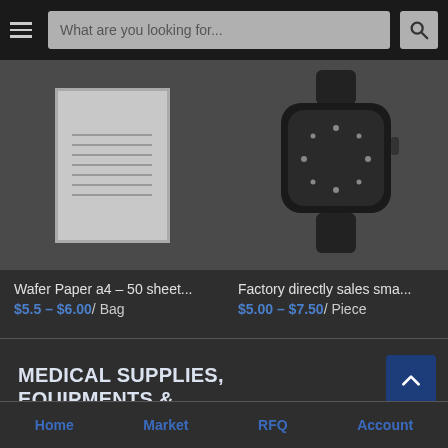What are you looking for...
[Figure (photo): Product image: Wafer Paper a4 – 50 sheet... showing stacked paper sheets]
Wafer Paper a4 – 50 sheet...
$5.5 – $6.00/ Bag
[Figure (photo): Product image: Factory directly sales sma... showing a smartwatch (Apple Watch style) in dark color]
Factory directly sales sma...
$5.00 – $7.50/ Piece
MEDICAL SUPPLIES, EQUIPMENTS & PROTECTIVE CLOTHING
Home   Market   RFQ   Account